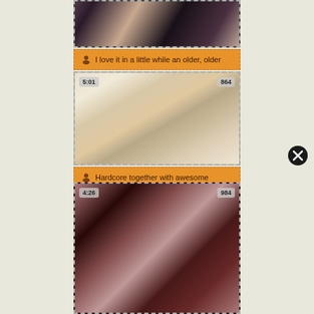[Figure (screenshot): Top portion of a video thumbnail showing two women, partially cropped]
I love it in a little while an older, older
[Figure (screenshot): Video thumbnail (5:01, 864 views) showing a man and woman on a red couch]
Hardcore together with awesome
[Figure (screenshot): Video thumbnail (4:26, 984 views) showing a woman with curly hair]